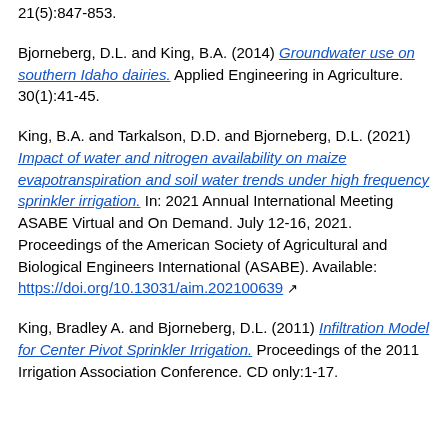21(5):847-853.
Bjorneberg, D.L. and King, B.A. (2014) Groundwater use on southern Idaho dairies. Applied Engineering in Agriculture. 30(1):41-45.
King, B.A. and Tarkalson, D.D. and Bjorneberg, D.L. (2021) Impact of water and nitrogen availability on maize evapotranspiration and soil water trends under high frequency sprinkler irrigation. In: 2021 Annual International Meeting ASABE Virtual and On Demand. July 12-16, 2021. Proceedings of the American Society of Agricultural and Biological Engineers International (ASABE). Available: https://doi.org/10.13031/aim.202100639
King, Bradley A. and Bjorneberg, D.L. (2011) Infiltration Model for Center Pivot Sprinkler Irrigation. Proceedings of the 2011 Irrigation Association Conference. CD only:1-17.